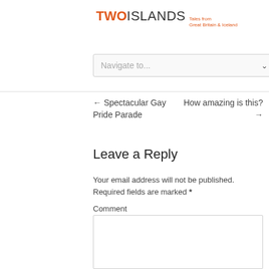TWO ISLANDS Tales from Great Britain & Iceland
[Figure (other): Navigation dropdown selector with text 'Navigate to...' and chevron]
← Spectacular Gay Pride Parade
How amazing is this? →
Leave a Reply
Your email address will not be published. Required fields are marked *
Comment
[Figure (other): Comment text area input box]